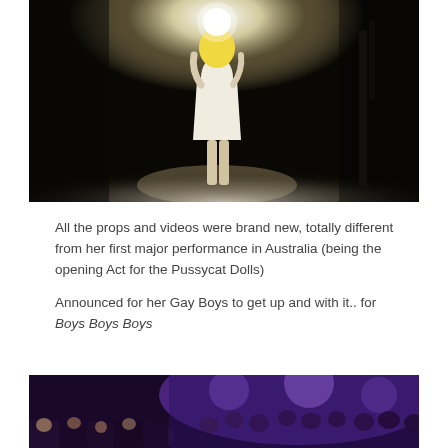[Figure (photo): A performer in a white dress with blonde hair stands on a dark stage under a bright spotlight with stage fog/smoke around their feet]
All the props and videos were brand new, totally different from her first major performance in Australia (being the opening Act for the Pussycat Dolls)
Announced for her Gay Boys to get up and with it.. for Boys Boys Boys
[Figure (photo): Concert crowd audience photo with purple lighting, people visible in foreground and background]